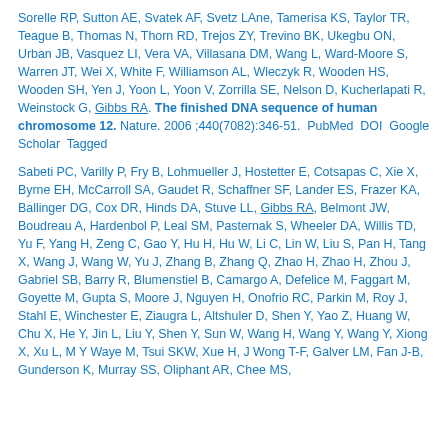Sorelle RP, Sutton AE, Svatek AF, Svetz LAne, Tamerisa KS, Taylor TR, Teague B, Thomas N, Thorn RD, Trejos ZY, Trevino BK, Ukegbu ON, Urban JB, Vasquez LI, Vera VA, Villasana DM, Wang L, Ward-Moore S, Warren JT, Wei X, White F, Williamson AL, Wleczyk R, Wooden HS, Wooden SH, Yen J, Yoon L, Yoon V, Zorrilla SE, Nelson D, Kucherlapati R, Weinstock G, Gibbs RA. The finished DNA sequence of human chromosome 12. Nature. 2006 ;440(7082):346-51.  PubMed  DOI  Google Scholar  Tagged
Sabeti PC, Varilly P, Fry B, Lohmueller J, Hostetter E, Cotsapas C, Xie X, Byrne EH, McCarroll SA, Gaudet R, Schaffner SF, Lander ES, Frazer KA, Ballinger DG, Cox DR, Hinds DA, Stuve LL, Gibbs RA, Belmont JW, Boudreau A, Hardenbol P, Leal SM, Pasternak S, Wheeler DA, Willis TD, Yu F, Yang H, Zeng C, Gao Y, Hu H, Hu W, Li C, Lin W, Liu S, Pan H, Tang X, Wang J, Wang W, Yu J, Zhang B, Zhang Q, Zhao H, Zhao H, Zhou J, Gabriel SB, Barry R, Blumenstiel B, Camargo A, Defelice M, Faggart M, Goyette M, Gupta S, Moore J, Nguyen H, Onofrio RC, Parkin M, Roy J, Stahl E, Winchester E, Ziaugra L, Altshuler D, Shen Y, Yao Z, Huang W, Chu X, He Y, Jin L, Liu Y, Shen Y, Sun W, Wang H, Wang Y, Wang Y, Xiong X, Xu L, M Y Waye M, Tsui SKW, Xue H, J Wong T-F, Galver LM, Fan J-B, Gunderson K, Murray SS, Oliphant AR, Chee MS,